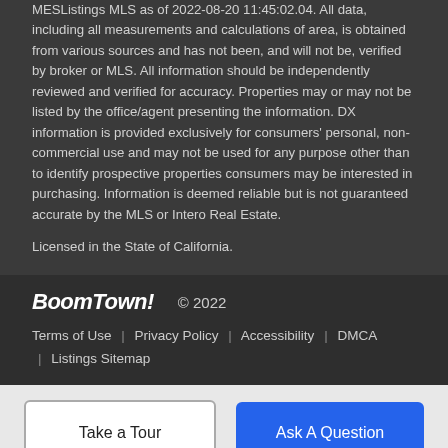MESListings MLS as of 2022-08-20 11:45:02.04. All data, including all measurements and calculations of area, is obtained from various sources and has not been, and will not be, verified by broker or MLS. All information should be independently reviewed and verified for accuracy. Properties may or may not be listed by the office/agent presenting the information. DX information is provided exclusively for consumers' personal, non-commercial use and may not be used for any purpose other than to identify prospective properties consumers may be interested in purchasing. Information is deemed reliable but is not guaranteed accurate by the MLS or Intero Real Estate.
Licensed in the State of California.
BoomTown! © 2022 | Terms of Use | Privacy Policy | Accessibility | DMCA | Listings Sitemap
Take a Tour
Ask A Question